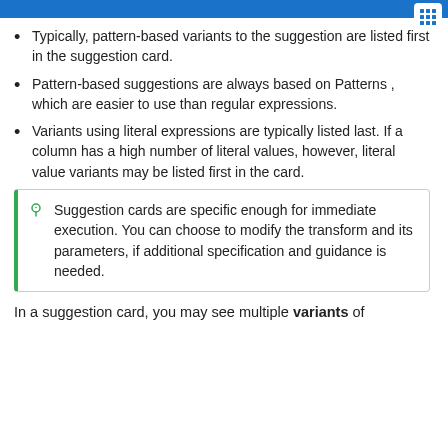Typically, pattern-based variants to the suggestion are listed first in the suggestion card.
Pattern-based suggestions are always based on Patterns , which are easier to use than regular expressions.
Variants using literal expressions are typically listed last. If a column has a high number of literal values, however, literal value variants may be listed first in the card.
Suggestion cards are specific enough for immediate execution. You can choose to modify the transform and its parameters, if additional specification and guidance is needed.
In a suggestion card, you may see multiple variants of